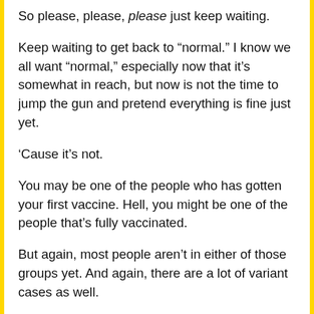So please, please, please just keep waiting.
Keep waiting to get back to “normal.” I know we all want “normal,” especially now that it’s somewhat in reach, but now is not the time to jump the gun and pretend everything is fine just yet.
‘Cause it’s not.
You may be one of the people who has gotten your first vaccine. Hell, you might be one of the people that’s fully vaccinated.
But again, most people aren’t in either of those groups yet. And again, there are a lot of variant cases as well.
If you’re vaccinated, you can still catch COVID. And